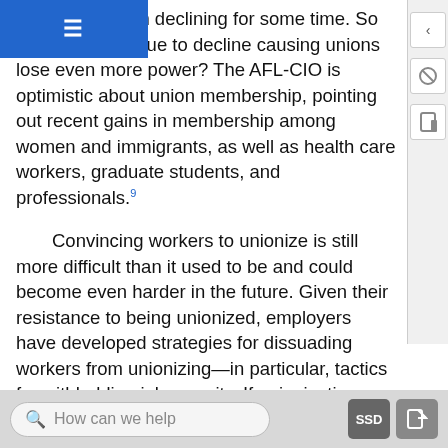States has been declining for some time. So mbership continue to decline causing unions lose even more power? The AFL-CIO is optimistic about union membership, pointing out recent gains in membership among women and immigrants, as well as health care workers, graduate students, and professionals.⁹
Convincing workers to unionize is still more difficult than it used to be and could become even harder in the future. Given their resistance to being unionized, employers have developed strategies for dissuading workers from unionizing—in particular, tactics for withholding job security. If unionization threatens higher costs for wages and benefits, management can resort to part-time or contract
How can we help